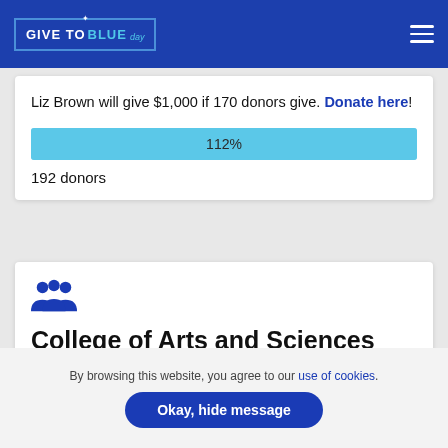GIVE TO BLUE day
Liz Brown will give $1,000 if 170 donors give. Donate here!
[Figure (other): Progress bar showing 112% completion]
192 donors
[Figure (illustration): People group icon in dark blue]
College of Arts and Sciences
Challenge
By browsing this website, you agree to our use of cookies.
Okay, hide message